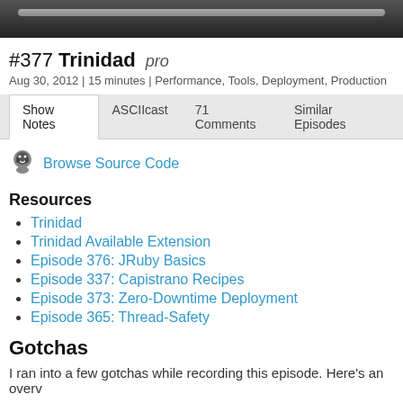#377 Trinidad pro
Aug 30, 2012 | 15 minutes | Performance, Tools, Deployment, Production
Show Notes | ASCIIcast | 71 Comments | Similar Episodes
[Figure (logo): GitHub octocat icon]
Browse Source Code
Resources
Trinidad
Trinidad Available Extension
Episode 376: JRuby Basics
Episode 337: Capistrano Recipes
Episode 373: Zero-Downtime Deployment
Episode 365: Thread-Safety
Gotchas
I ran into a few gotchas while recording this episode. Here's an overv
Highline Version
If you are using JRuby 1.7 and receiving the exception NameError: Capistrano commands then try running bundle update highlin